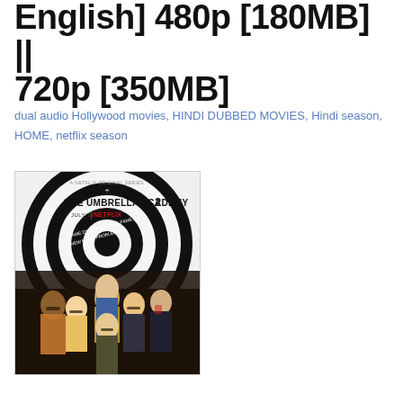English] 480p [180MB] || 720p [350MB]
dual audio Hollywood movies, HINDI DUBBED MOVIES, Hindi season, HOME, netflix season
[Figure (photo): The Umbrella Academy 2 Netflix promotional poster with multiple characters arranged in front of a black and white spiral, text reading 'THE UMBRELLA ACADEMY 2 JULY 31 | NETFLIX']